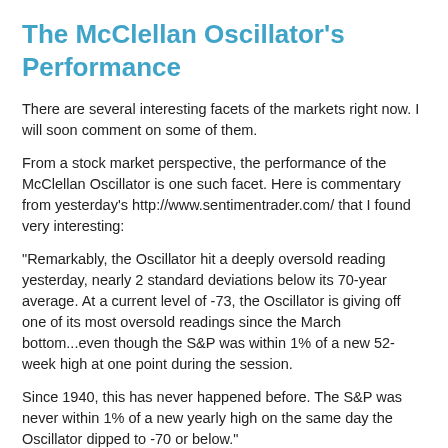The McClellan Oscillator's Performance
There are several interesting facets of the markets right now. I will soon comment on some of them.
From a stock market perspective, the performance of the McClellan Oscillator is one such facet. Here is commentary from yesterday's http://www.sentimentrader.com/ that I found very interesting:
"Remarkably, the Oscillator hit a deeply oversold reading yesterday, nearly 2 standard deviations below its 70-year average. At a current level of -73, the Oscillator is giving off one of its most oversold readings since the March bottom...even though the S&P was within 1% of a new 52-week high at one point during the session.
Since 1940, this has never happened before. The S&P was never within 1% of a new yearly high on the same day the Oscillator dipped to -70 or below."